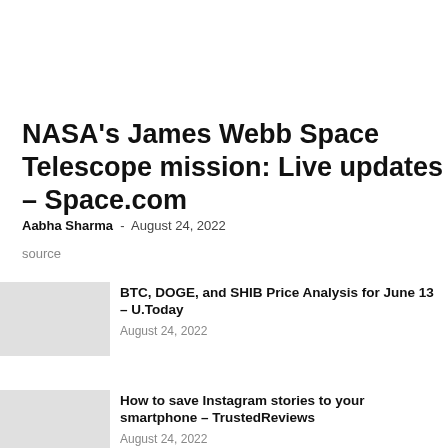NASA's James Webb Space Telescope mission: Live updates – Space.com
Aabha Sharma - August 24, 2022
source
BTC, DOGE, and SHIB Price Analysis for June 13 – U.Today
August 24, 2022
How to save Instagram stories to your smartphone – TrustedReviews
August 24, 2022
Gurman: Mac mini with M2 and M2 Pro chips